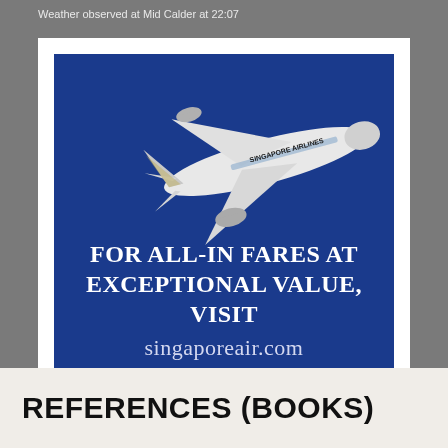Weather observed at Mid Calder at 22:07
[Figure (illustration): Singapore Airlines advertisement with a large white aircraft (A380) flying against a blue background. Text reads: FOR ALL-IN FARES AT EXCEPTIONAL VALUE, VISIT singaporeair.com. Singapore Airlines logo with golden bird/wing icon in bottom right.]
REFERENCES (BOOKS)